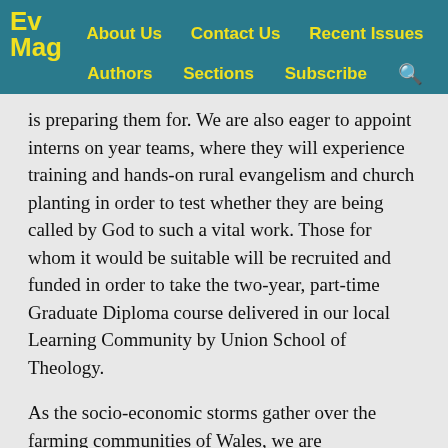Ev Mag | About Us | Contact Us | Recent Issues | Authors | Sections | Subscribe
is preparing them for. We are also eager to appoint interns on year teams, where they will experience training and hands-on rural evangelism and church planting in order to test whether they are being called by God to such a vital work. Those for whom it would be suitable will be recruited and funded in order to take the two-year, part-time Graduate Diploma course delivered in our local Learning Community by Union School of Theology.
As the socio-economic storms gather over the farming communities of Wales, we are endeavouring to gather together farmers to pray for their own futures. In the past, such times have often presented openings for a deep